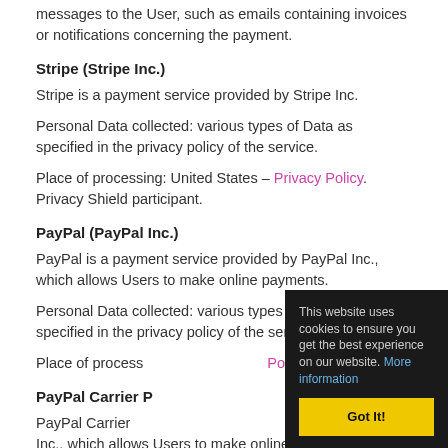messages to the User, such as emails containing invoices or notifications concerning the payment.
Stripe (Stripe Inc.)
Stripe is a payment service provided by Stripe Inc.
Personal Data collected: various types of Data as specified in the privacy policy of the service.
Place of processing: United States – Privacy Policy. Privacy Shield participant.
PayPal (PayPal Inc.)
PayPal is a payment service provided by PayPal Inc., which allows Users to make online payments.
Personal Data collected: various types of Data as specified in the privacy policy of the service.
Place of process... Policy.
PayPal Carrier P...
PayPal Carrier ... PayPal, Inc., which allows Users to make online payments